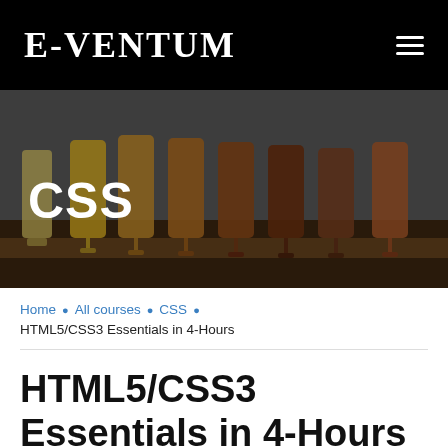E-VENTUM
[Figure (photo): Hero image showing a row of beer glasses with different colored beers (yellow, amber, dark brown) on a wooden bar surface, with 'CSS' text overlay in white bold font.]
Home · All courses · CSS
HTML5/CSS3 Essentials in 4-Hours
HTML5/CSS3 Essentials in 4-Hours